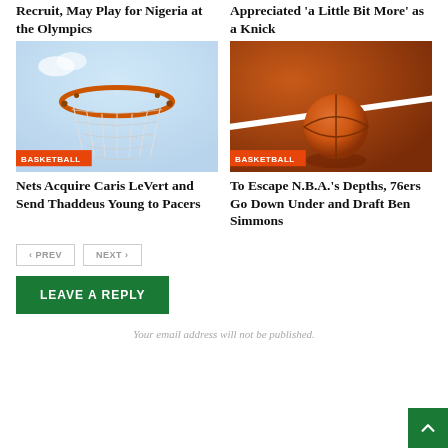Recruit, May Play for Nigeria at the Olympics
Appreciated 'a Little Bit More' as a Knick
[Figure (photo): Basketball hoop viewed from below against a sky background with orange rim and white net, with BASKETBALL badge]
[Figure (photo): Basketball on an orange-red court near a white line, with BASKETBALL badge]
Nets Acquire Caris LeVert and Send Thaddeus Young to Pacers
To Escape N.B.A.'s Depths, 76ers Go Down Under and Draft Ben Simmons
PREV
NEXT
LEAVE A REPLY
Your email address will not be published.